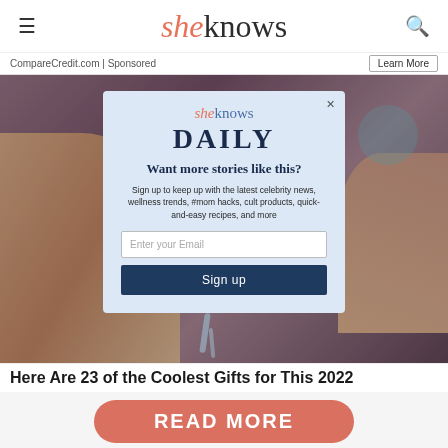sheknows
CompareCredit.com | Sponsored
[Figure (screenshot): Background photo of hands near a running water faucet/tap, with a modal newsletter signup overlay for sheknows DAILY]
sheknows DAILY
Want more stories like this?
Sign up to keep up with the latest celebrity news, wellness trends, #mom hacks, cult products, quick-and-easy recipes, and more
Here Are 23 of the Coolest Gifts for This 2022
READ MORE